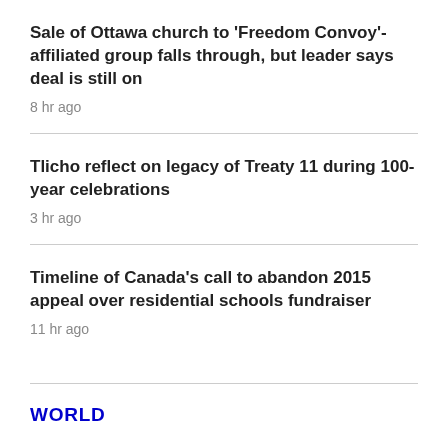Sale of Ottawa church to 'Freedom Convoy'-affiliated group falls through, but leader says deal is still on
8 hr ago
Tlicho reflect on legacy of Treaty 11 during 100-year celebrations
3 hr ago
Timeline of Canada's call to abandon 2015 appeal over residential schools fundraiser
11 hr ago
WORLD